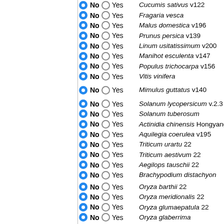No / Yes — Cucumis sativus v122
No / Yes — Fragaria vesca
No / Yes — Malus domestica v196
No / Yes — Prunus persica v139
No / Yes — Linum usitatissimum v200
No / Yes — Manihot esculenta v147
No / Yes — Populus trichocarpa v156
No / Yes — Vitis vinifera
No / Yes — Mimulus guttatus v140
No / Yes — Solanum lycopersicum v.2.3
No / Yes — Solanum tuberosum
No / Yes — Actinidia chinensis Hongyang
No / Yes — Aquilegia coerulea v195
No / Yes — Triticum urartu 22
No / Yes — Triticum aestivum 22
No / Yes — Aegilops tauschii 22
No / Yes — Brachypodium distachyon
No / Yes — Oryza barthii 22
No / Yes — Oryza meridionalis 22
No / Yes — Oryza glumaepatula 22
No / Yes — Oryza glaberrima